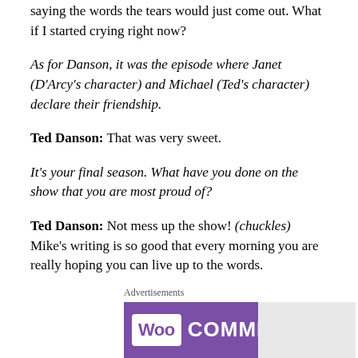saying the words the tears would just come out. What if I started crying right now?
As for Danson, it was the episode where Janet (D'Arcy's character) and Michael (Ted's character) declare their friendship.
Ted Danson: That was very sweet.
It's your final season. What have you done on the show that you are most proud of?
Ted Danson: Not mess up the show! (chuckles) Mike's writing is so good that every morning you are really hoping you can live up to the words.
[Figure (other): WooCommerce advertisement banner with purple background showing WooCommerce logo]